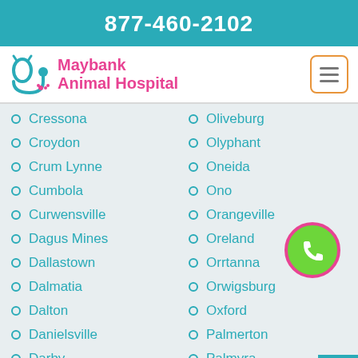877-460-2102
[Figure (logo): Maybank Animal Hospital logo with teal stethoscope/paw icon]
Cressona
Croydon
Crum Lynne
Cumbola
Curwensville
Dagus Mines
Dallastown
Dalmatia
Dalton
Danielsville
Darby
Darragh
Oliveburg
Olyphant
Oneida
Ono
Orangeville
Oreland
Orrtanna
Orwigsburg
Oxford
Palmerton
Palmyra
Paoli